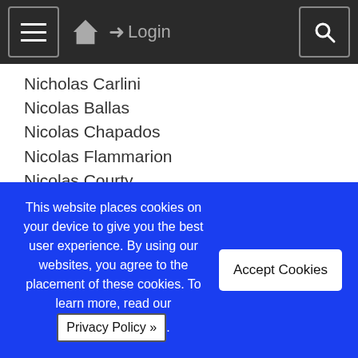☰ 🏠 Login 🔍
Nicholas Carlini
Nicolas Ballas
Nicolas Chapados
Nicolas Flammarion
Nicolas Courty
Nicolas Papernot
Nicolas Dobigeon
Nicolas Thome
Nicolas Durrande
Nicole Mücke
Nicolo Colombo
Nicolo Cesa-Bianchi
This website places cookies on your device to give you the best user experience. By using our websites, you agree to the placement of these cookies. To learn more, read our Privacy Policy ».